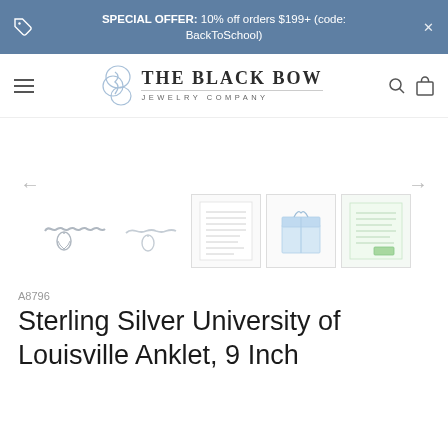SPECIAL OFFER: 10% off orders $199+ (code: BackToSchool)
[Figure (logo): The Black Bow Jewelry Company logo with stylized B monogram]
[Figure (photo): Product image gallery showing sterling silver anklet with Louisville charm, multiple thumbnail views including product card, gift box, and certificate]
A8796
Sterling Silver University of Louisville Anklet, 9 Inch